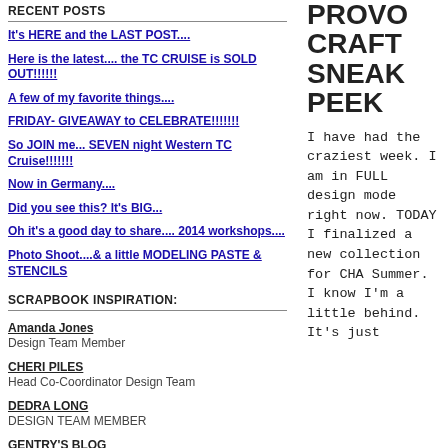RECENT POSTS
It's HERE and the LAST POST....
Here is the latest.... the TC CRUISE is SOLD OUT!!!!!!
A few of my favorite things....
FRIDAY- GIVEAWAY to CELEBRATE!!!!!!!
So JOIN me... SEVEN night Western TC Cruise!!!!!!!
Now in Germany....
Did you see this? It's BIG...
Oh it's a good day to share.... 2014 workshops....
Photo Shoot....& a little MODELING PASTE & STENCILS
SCRAPBOOK INSPIRATION:
Amanda Jones
Design Team Member
CHERI PILES
Head Co-Coordinator Design Team
DEDRA LONG
DESIGN TEAM MEMBER
GENTRY'S BLOG
You are my Happy
PROVO CRAFT SNEAK PEEK
I have had the craziest week. I am in FULL design mode right now. TODAY I finalized a new collection for CHA Summer. I know I'm a little behind. It's just